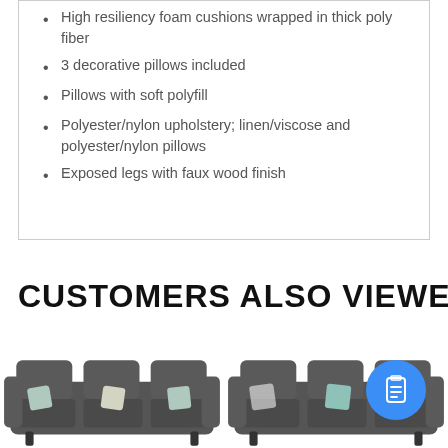High resiliency foam cushions wrapped in thick poly fiber
3 decorative pillows included
Pillows with soft polyfill
Polyester/nylon upholstery; linen/viscose and polyester/nylon pillows
Exposed legs with faux wood finish
CUSTOMERS ALSO VIEWED
[Figure (photo): Two dark gray sofas with decorative pillows shown in a product row]